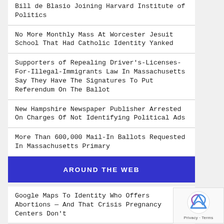Bill de Blasio Joining Harvard Institute of Politics
No More Monthly Mass At Worcester Jesuit School That Had Catholic Identity Yanked
Supporters of Repealing Driver's-Licenses-For-Illegal-Immigrants Law In Massachusetts Say They Have The Signatures To Put Referendum On The Ballot
New Hampshire Newspaper Publisher Arrested On Charges Of Not Identifying Political Ads
More Than 600,000 Mail-In Ballots Requested In Massachusetts Primary
AROUND THE WEB
Google Maps To Identity Who Offers Abortions — And That Crisis Pregnancy Centers Don't
Associated Press: Don't Say 'That She